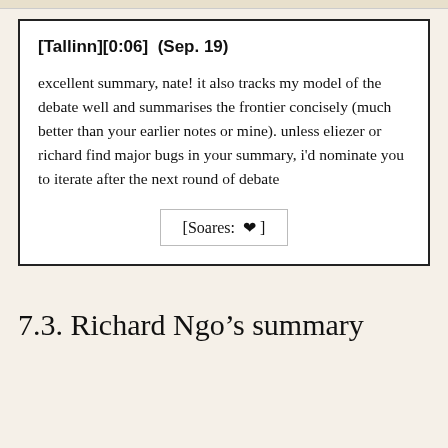[Tallinn][0:06] (Sep. 19)
excellent summary, nate! it also tracks my model of the debate well and summarises the frontier concisely (much better than your earlier notes or mine). unless eliezer or richard find major bugs in your summary, i'd nominate you to iterate after the next round of debate
[Soares: ♥]
7.3. Richard Ngo's summary